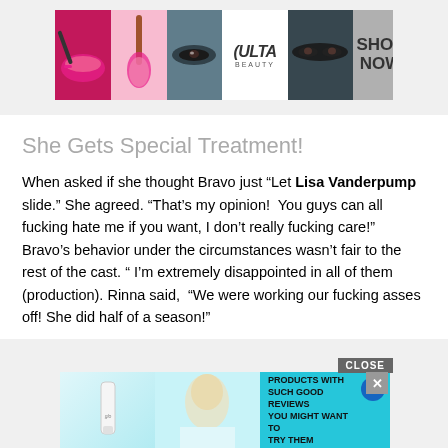[Figure (illustration): ULTA Beauty advertisement banner with makeup imagery, logo, and SHOP NOW text]
She Gets Special Treatment!
When asked if she thought Bravo just “Let Lisa Vanderpump slide.” She agreed. “That’s my opinion!  You guys can all fucking hate me if you want, I don’t really fucking care!” Bravo’s behavior under the circumstances wasn’t fair to the rest of the cast. “ I’m extremely disappointed in all of them (production). Rinna said,  “We were working our fucking asses off! She did half of a season!”
[Figure (illustration): Advertisement for 37 beauty products with a CLOSE button, X button, circular badge with 22, and teal background with product and model imagery]